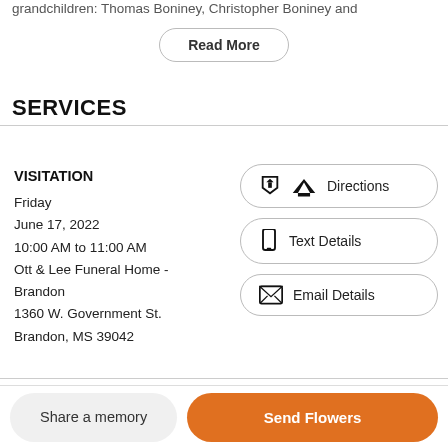grandchildren: Thomas Boniney, Christopher Boniney and
Read More
SERVICES
VISITATION
Friday
June 17, 2022
10:00 AM to 11:00 AM
Ott & Lee Funeral Home - Brandon
1360 W. Government St.
Brandon, MS 39042
Directions
Text Details
Email Details
Share a memory
Send Flowers